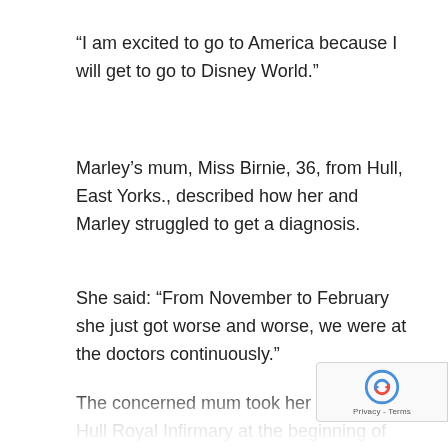“I am excited to go to America because I will get to go to Disney World.”
Marley’s mum, Miss Birnie, 36, from Hull, East Yorks., described how her and Marley struggled to get a diagnosis.
She said: “From November to February she just got worse and worse, we were at the doctors continuously.”
The concerned mum took her daughter to Hull Royal Infirmary at the beginning of March due to the excruciating pain she had in her ankle.
Miss Birnie said: “The pain had got so bad that s…